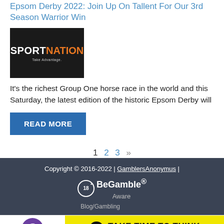Epsom Derby 2022: Join Up On Tallent For Our 3rd Season Warrior Win
[Figure (logo): SportNation logo — dark background with white SPORT and orange NATION text, tagline 'Take Advantage.']
It's the richest Group One horse race in the world and this Saturday, the latest edition of the historic Epsom Derby will
READ MORE
1  2  3  »
Copyright © 2016-2022 | GamblersAnonymus | 18+ BeGamble® Aware | Blog/Gambling available | Take Time to Think taketimetothink.co.uk